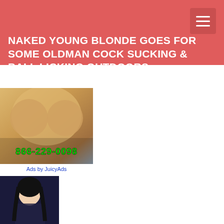NAKED YOUNG BLONDE GOES FOR SOME OLDMAN COCK SUCKING & BALL LICKING OUTDOORS
[Figure (photo): Advertisement banner with phone number 866-229-0098]
Ads by JuicyAds
[Figure (illustration): Anime artwork collage showing anime female characters]